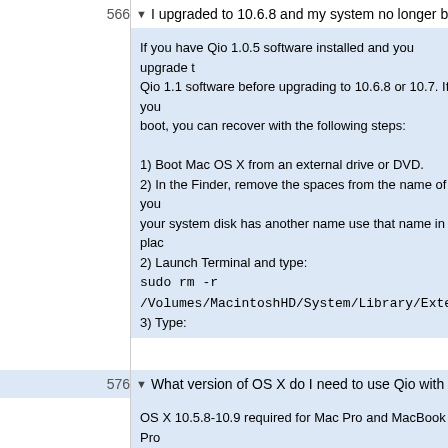566 ▼ I upgraded to 10.6.8 and my system no longer boots.
If you have Qio 1.0.5 software installed and you upgrade to 10.6.8, you must install Qio 1.1 software before upgrading to 10.6.8 or 10.7. If your system no longer boots, you can recover with the following steps:
1) Boot Mac OS X from an external drive or DVD.
2) In the Finder, remove the spaces from the name of your system disk. If your system disk has another name use that name in place of MacintoshHD.
2) Launch Terminal and type:
sudo rm -r /Volumes/MacintoshHD/System/Library/Extensions/...
3) Type:
sudo cp -r "/Volumes/MacintoshHD/Library/Application Support/... (all on one line)
4) Type:
sudo touch /Volumes/MacintoshHD/System/Library/Extensions/...
5) Restart
6) Install Qio 1.1 or greater
7) Restart
576 ▼ What version of OS X do I need to use Qio with MacBook P...
OS X 10.5.8-10.9 required for Mac Pro and MacBook Pro
OS X 10.6.8-10.9 required for MacBook Pro (Thunderbolt)